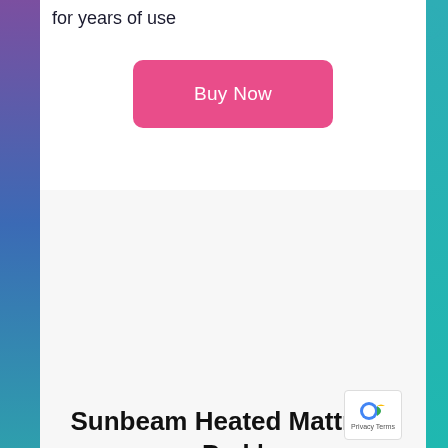for years of use
Buy Now
Sunbeam Heated Mattress Pad | Therapeutic with Zoned Heat, 10 Heat Settings, Queen
More Info and Images